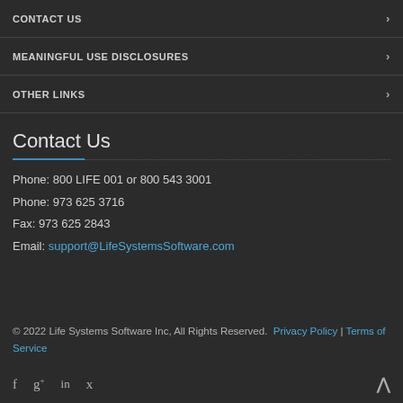CONTACT US
MEANINGFUL USE DISCLOSURES
OTHER LINKS
Contact Us
Phone: 800 LIFE 001 or 800 543 3001
Phone: 973 625 3716
Fax: 973 625 2843
Email: support@LifeSystemsSoftware.com
© 2022 Life Systems Software Inc, All Rights Reserved. Privacy Policy | Terms of Service